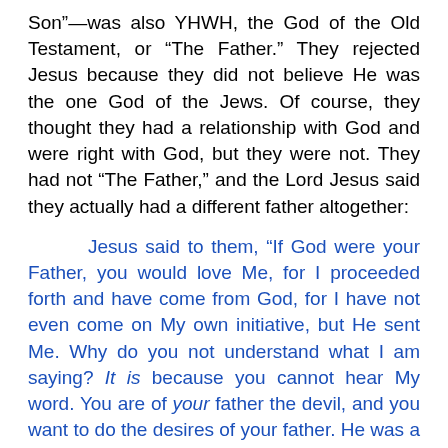Son”—was also YHWH, the God of the Old Testament, or “The Father.” They rejected Jesus because they did not believe He was the one God of the Jews. Of course, they thought they had a relationship with God and were right with God, but they were not. They had not “The Father,” and the Lord Jesus said they actually had a different father altogether:
Jesus said to them, “If God were your Father, you would love Me, for I proceeded forth and have come from God, for I have not even come on My own initiative, but He sent Me. Why do you not understand what I am saying? It is because you cannot hear My word. You are of your father the devil, and you want to do the desires of your father. He was a murderer from the beginning, and does not stand in the truth because there is no truth in him. Whenever he speaks a lie, he speaks from his own nature